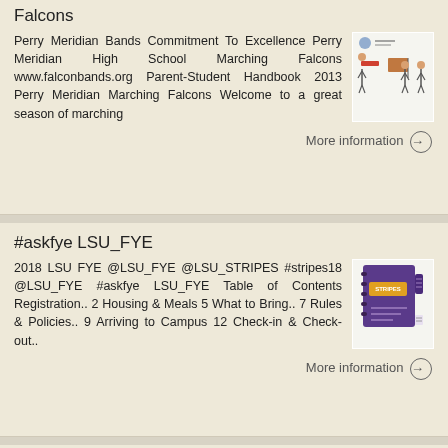Falcons
Perry Meridian Bands Commitment To Excellence Perry Meridian High School Marching Falcons www.falconbands.org Parent-Student Handbook 2013 Perry Meridian Marching Falcons Welcome to a great season of marching
More information →
#askfye LSU_FYE
2018 LSU FYE @LSU_FYE @LSU_STRIPES #stripes18 @LSU_FYE #askfye LSU_FYE Table of Contents Registration.. 2 Housing & Meals 5 What to Bring.. 7 Rules & Policies.. 9 Arriving to Campus 12 Check-in & Check-out..
More information →
Auburn University Marching Honor Band